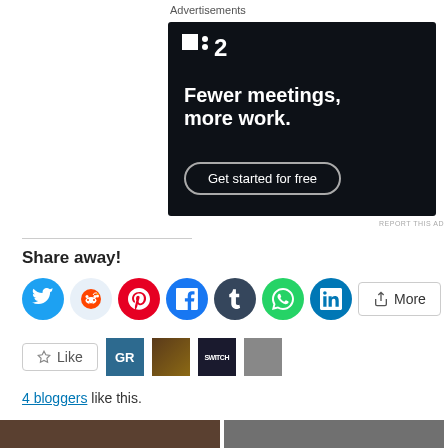Advertisements
[Figure (other): Advertisement banner for a project management app. Dark navy background with logo ':2', tagline 'Fewer meetings, more work.' and a 'Get started for free' button.]
REPORT THIS AD
Share away!
[Figure (infographic): Row of social sharing icon buttons: Twitter, Reddit, Pinterest, Facebook, Tumblr, WhatsApp, LinkedIn, and a More button.]
[Figure (infographic): Like button and four blogger avatar thumbnails (GR logo, person with dreadlocks, Switch logo, person with sunglasses).]
4 bloggers like this.
[Figure (photo): Two partial thumbnail images at bottom of page.]